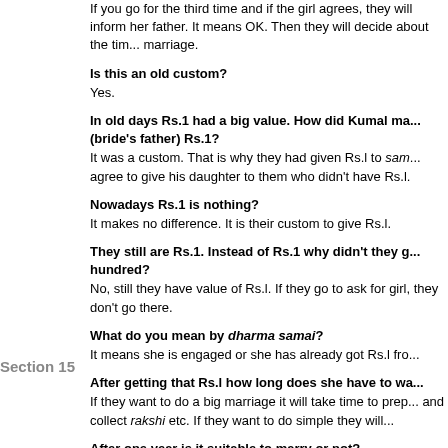If you go for the third time and if the girl agrees, they will inform her father. It means OK. Then they will decide about the time of marriage.
Is this an old custom?
Yes.
In old days Rs.1 had a big value. How did Kumal manage to give (bride's father) Rs.1?
It was a custom. That is why they had given Rs.l to sam... agree to give his daughter to them who didn't have Rs.l.
Nowadays Rs.1 is nothing?
It makes no difference. It is their custom to give Rs.l.
They still are Rs.1. Instead of Rs.1 why didn't they give one hundred?
No, still they have value of Rs.l. If they go to ask for girl, they don't go there.
What do you mean by dharma samai?
It means she is engaged or she has already got Rs.l fro...
After getting that Rs.l how long does she have to wa...
If they want to do a big marriage it will take time to prep... and collect rakshi etc. If they want to do simple they will...
Section 15
After one year is it suitable to marry or not?
It depends on their wish. "I wasn't able to marry your da... for me". If the boy tells this to the girl's father then if the... they will wait for him.